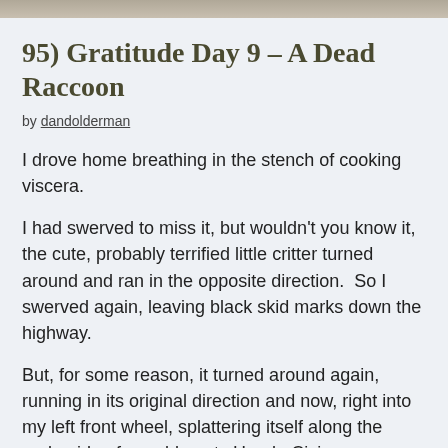[Figure (photo): Partial photo strip visible at top of page, appears to be an outdoor scene]
95) Gratitude Day 9 – A Dead Raccoon
by dandolderman
I drove home breathing in the stench of cooking viscera.
I had swerved to miss it, but wouldn't you know it, the cute, probably terrified little critter turned around and ran in the opposite direction.  So I swerved again, leaving black skid marks down the highway.
But, for some reason, it turned around again, running in its original direction and now, right into my left front wheel, splattering itself along the underside of my old, rusty Honda Civic.
I stopped to find the body, but never did locate it in the